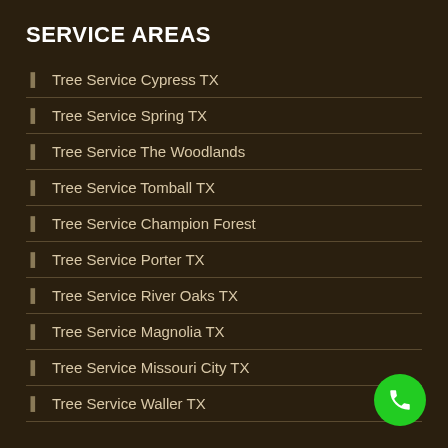SERVICE AREAS
Tree Service Cypress TX
Tree Service Spring TX
Tree Service The Woodlands
Tree Service Tomball TX
Tree Service Champion Forest
Tree Service Porter TX
Tree Service River Oaks TX
Tree Service Magnolia TX
Tree Service Missouri City TX
Tree Service Waller TX
[Figure (illustration): Green circular phone/call button in bottom right corner]